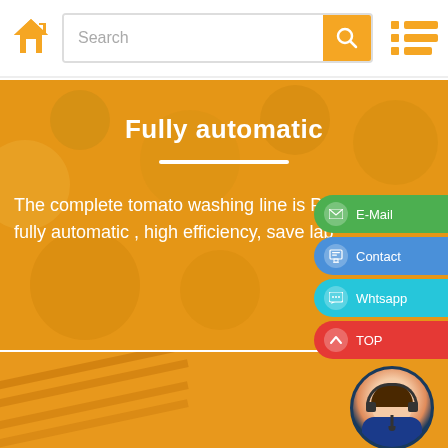[Figure (screenshot): Website header with orange home icon, search bar with orange search button, and orange menu icon on the right]
[Figure (infographic): Orange banner with title 'Fully automatic', a white divider line, and text: 'The complete tomato washing line is PLC fully automatic, high efficiency, save lab...']
Fully automatic
The complete tomato washing line is PLC fully automatic , high efficiency, save lab
[Figure (infographic): Floating contact buttons on right side: E-Mail (green), Contact (blue), Whatsapp (teal), TOP (red)]
[Figure (photo): Bottom orange strip with customer service avatar in bottom right corner]